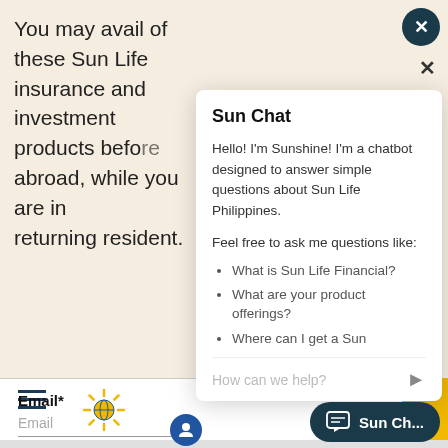You may avail of these Sun Life insurance and investment products before going abroad, while you are in... returning resident.
[Figure (screenshot): Sun Chat chatbot widget overlay showing greeting from Sunshine chatbot with bullet list of example questions: What is Sun Life Financial?, What are your product offerings?, Where can I get a Sun...]
Email*
Email
Mobile*
Contact No
Are you a Filipino
Yes